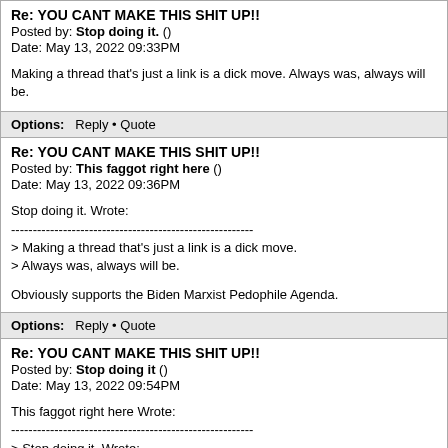Re: YOU CANT MAKE THIS SHIT UP!!
Posted by: Stop doing it. ()
Date: May 13, 2022 09:33PM

Making a thread that's just a link is a dick move. Always was, always will be.
Options: Reply • Quote
Re: YOU CANT MAKE THIS SHIT UP!!
Posted by: This faggot right here ()
Date: May 13, 2022 09:36PM

Stop doing it. Wrote:
--------------------------------------------------------
> Making a thread that's just a link is a dick move.
> Always was, always will be.

Obviously supports the Biden Marxist Pedophile Agenda.
Options: Reply • Quote
Re: YOU CANT MAKE THIS SHIT UP!!
Posted by: Stop doing it ()
Date: May 13, 2022 09:54PM

This faggot right here Wrote:
--------------------------------------------------------
> Stop doing it. Wrote:
> -----------------------------------------------
>